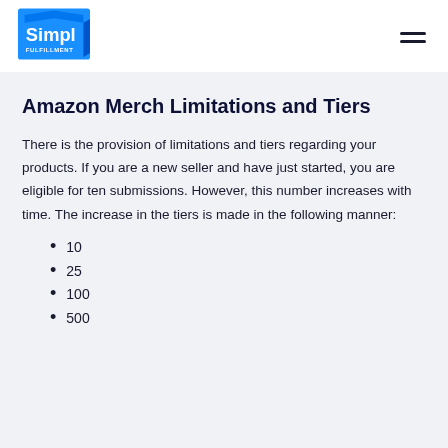Simpl Fulfillment
Amazon Merch Limitations and Tiers
There is the provision of limitations and tiers regarding your products. If you are a new seller and have just started, you are eligible for ten submissions. However, this number increases with time. The increase in the tiers is made in the following manner:
10
25
100
500